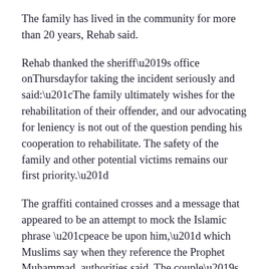The family has lived in the community for more than 20 years, Rehab said.
Rehab thanked the sheriff's office onThursdayfor taking the incident seriously and said:“The family ultimately wishes for the rehabilitation of their offender, and our advocating for leniency is not out of the question pending his cooperation to rehabilitate. The safety of the family and other potential victims remains our first priority.”
The graffiti contained crosses and a message that appeared to be an attempt to mock the Islamic phrase “peace be upon him,” which Muslims say when they reference the Prophet Muhammad, authorities said. The couple’s car was also damaged by paint.